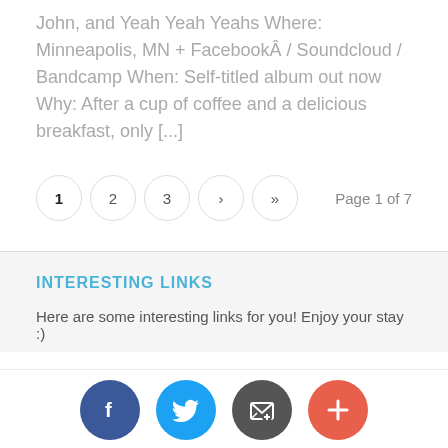John, and Yeah Yeah Yeahs Where: Minneapolis, MN + FacebookÂ / Soundcloud / Bandcamp When: Self-titled album out now Why: After a cup of coffee and a delicious breakfast, only [...]
Page 1 of 7
INTERESTING LINKS
Here are some interesting links for you! Enjoy your stay :)